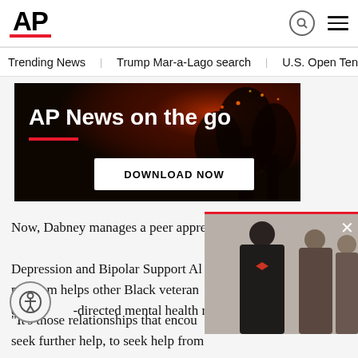AP
Trending News  Trump Mar-a-Lago search  U.S. Open Tennis
[Figure (advertisement): AP News on the go advertisement banner with dark fiery background. Text: 'AP News on the go' with a red underline bar and a 'DOWNLOAD NOW' white button.]
Now, Dabney manages a peer apprenticeship program at the Depression and Bipolar Support Alliance. The program helps other Black veterans navigate community-directed mental health resources.
“It’s those relationships that encouraged me to seek further help, to seek help from…